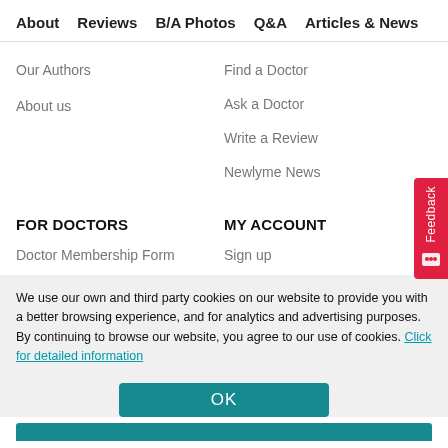About   Reviews   B/A Photos   Q&A   Articles & News
Our Authors
About us
Find a Doctor
Ask a Doctor
Write a Review
Newlyme News
FOR DOCTORS
MY ACCOUNT
Doctor Membership Form
Sign up
We use our own and third party cookies on our website to provide you with a better browsing experience, and for analytics and advertising purposes. By continuing to browse our website, you agree to our use of cookies. Click for detailed information